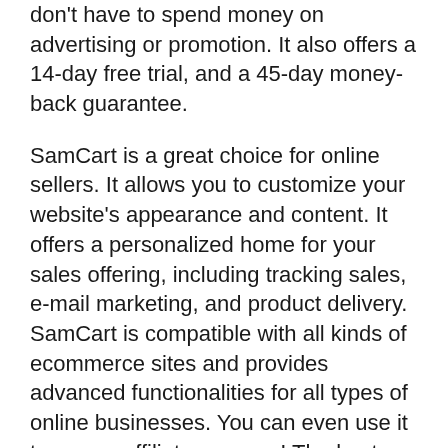don't have to spend money on advertising or promotion. It also offers a 14-day free trial, and a 45-day money-back guarantee.
SamCart is a great choice for online sellers. It allows you to customize your website's appearance and content. It offers a personalized home for your sales offering, including tracking sales, e-mail marketing, and product delivery. SamCart is compatible with all kinds of ecommerce sites and provides advanced functionalities for all types of online businesses. You can even use it to run an affiliate program! The best part is, SamCart is extremely flexible and offers best-in-class adaptive measures.
You can test product prices with AB tests